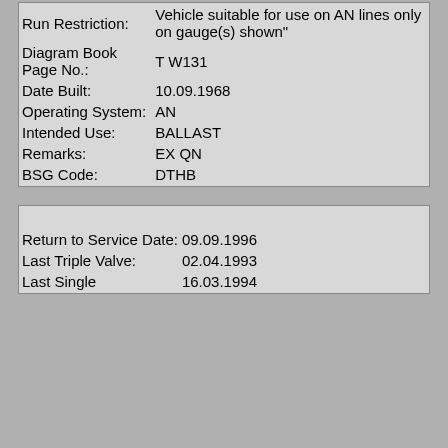| Run Restriction: | Vehicle suitable for use on AN lines only on gauge(s) shown" |
| Diagram Book Page No.: | T W131 |
| Date Built: | 10.09.1968 |
| Operating System: | AN |
| Intended Use: | BALLAST |
| Remarks: | EX QN |
| BSG Code: | DTHB |
| Return to Service Date: | 09.09.1996 |
| Last Triple Valve: | 02.04.1993 |
| Last Single | 16.03.1994 |